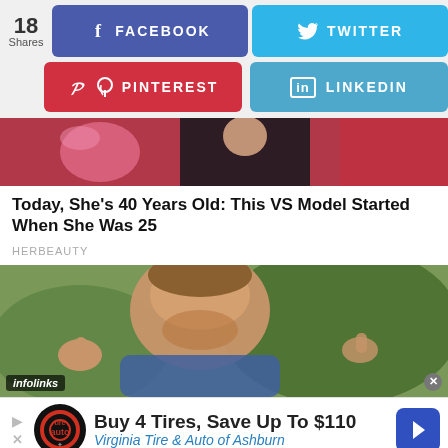[Figure (screenshot): Social sharing bar with 18 Shares count, Facebook button (blue/purple), Twitter button (light blue), Pinterest button (red), LinkedIn button (light blue)]
[Figure (photo): Partial photo showing person in dark jacket with pink/red background]
Today, She's 40 Years Old: This VS Model Started When She Was 25
HERBEAUTY
[Figure (photo): Photo of young man with beard giving thumbs up, green foliage background. Infolinks badge in bottom left corner.]
[Figure (infographic): Advertisement: Buy 4 Tires, Save Up To $110 — Virginia Tire & Auto of Ashburn, with tire brand logo and blue arrow icon]